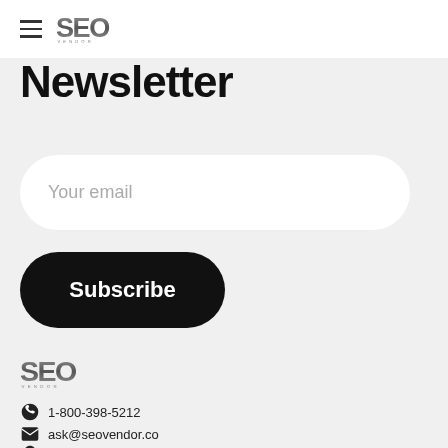SEO VENDOR (logo + hamburger menu)
Newsletter
[Figure (other): Email input field with placeholder text 'Your email']
[Figure (other): Subscribe button (dark rounded button)]
[Figure (logo): SEO Vendor logo in footer]
1-800-398-5212
ask@seovendor.co
280 West Lake Mead Parkway #1057, Henderson, NV 89015